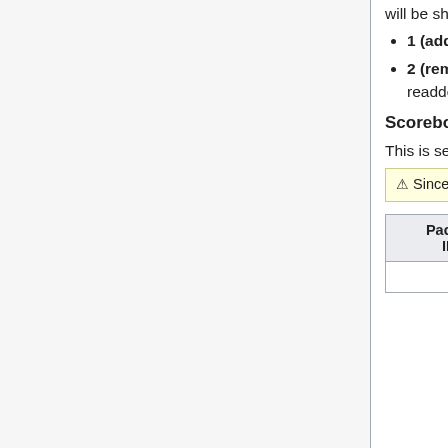will be shown in the notification. VERIFY LIST ORDER?
1 (add) = All the recipes in the list are added and their icon will be shown in the notification.
2 (remove) = Remove all the recipes in the list. This allows them to re-displayed when they are readded.
Scoreboard Objective
This is sent to the client when it should create a new scoreboard objective or remove one.
⚠ Since snapshot 17w49a (1.13), mode 2 is broken
| Packet ID | State | Bound To | Field Name | Field Type |
| --- | --- | --- | --- | --- |
|  |  |  | Objective | Strin |